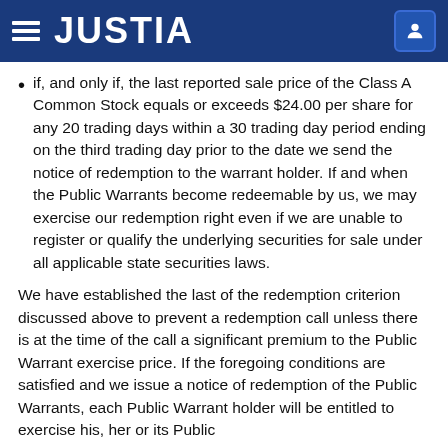JUSTIA
if, and only if, the last reported sale price of the Class A Common Stock equals or exceeds $24.00 per share for any 20 trading days within a 30 trading day period ending on the third trading day prior to the date we send the notice of redemption to the warrant holder. If and when the Public Warrants become redeemable by us, we may exercise our redemption right even if we are unable to register or qualify the underlying securities for sale under all applicable state securities laws.
We have established the last of the redemption criterion discussed above to prevent a redemption call unless there is at the time of the call a significant premium to the Public Warrant exercise price. If the foregoing conditions are satisfied and we issue a notice of redemption of the Public Warrants, each Public Warrant holder will be entitled to exercise his, her or its Public